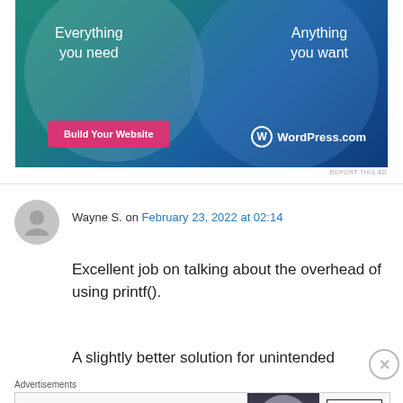[Figure (other): WordPress.com advertisement banner with teal/blue gradient background, two overlapping circles, text 'Everything you need' and 'Anything you want', a pink 'Build Your Website' button, and WordPress.com logo]
Wayne S. on February 23, 2022 at 02:14
Excellent job on talking about the overhead of using printf().
A slightly better solution for unintended
Advertisements
[Figure (other): Bloomingdale's advertisement: logo, 'View Today's Top Deals!', woman with hat, SHOP NOW > button]